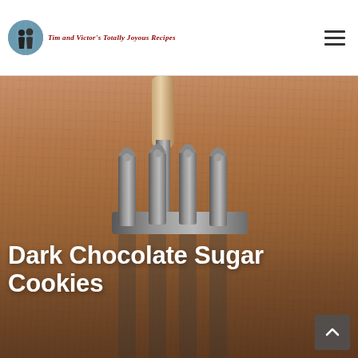Tim and Victor's Totally Joyous Recipes
[Figure (photo): Close-up photo of a metal fork pressed into a brown cookie/dough surface, with fork tines creating marks. Dark overlay with white text overlay showing recipe title.]
Dark Chocolate Sugar Cookies